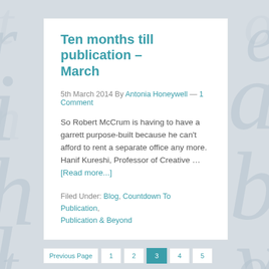Ten months till publication – March
5th March 2014 By Antonia Honeywell — 1 Comment
So Robert McCrum is having to have a garrett purpose-built because he can't afford to rent a separate office any more. Hanif Kureshi, Professor of Creative … [Read more...]
Filed Under: Blog, Countdown To Publication, Publication & Beyond
Previous Page   1   2   3   4   5